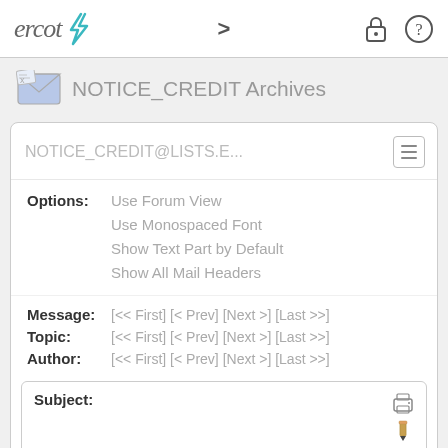ercot > (lock icon) (help icon)
NOTICE_CREDIT Archives
NOTICE_CREDIT@LISTS.E...
Options: Use Forum View
Use Monospaced Font
Show Text Part by Default
Show All Mail Headers
Message: [<< First] [< Prev] [Next >] [Last >>]
Topic: [<< First] [< Prev] [Next >] [Last >>]
Author: [<< First] [< Prev] [Next >] [Last >>]
Subject:
W-A012022-01 Disbursement of payments for reallocated shortpays
From: